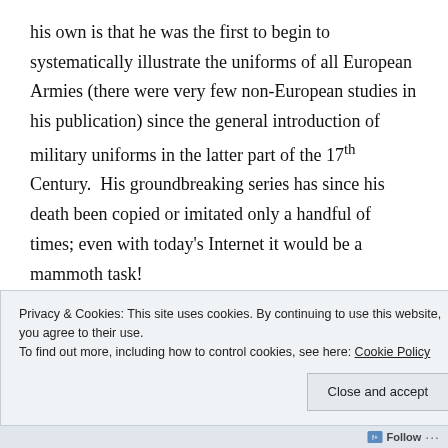his own is that he was the first to begin to systematically illustrate the uniforms of all European Armies (there were very few non-European studies in his publication) since the general introduction of military uniforms in the latter part of the 17th Century.  His groundbreaking series has since his death been copied or imitated only a handful of times; even with today's Internet it would be a mammoth task!
Preussen.
Privacy & Cookies: This site uses cookies. By continuing to use this website, you agree to their use.
To find out more, including how to control cookies, see here: Cookie Policy